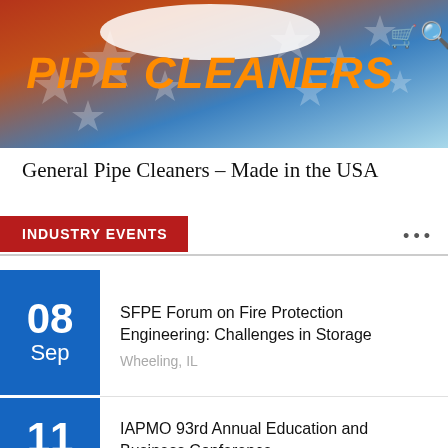[Figure (illustration): General Pipe Cleaners banner with orange italic bold text 'PIPE CLEANERS' on a red/orange/blue patriotic background with stars, cart icon and search icon in top right]
General Pipe Cleaners – Made in the USA
INDUSTRY EVENTS
08 Sep – SFPE Forum on Fire Protection Engineering: Challenges in Storage – Wheeling, IL
11 – IAPMO 93rd Annual Education and Business Conference